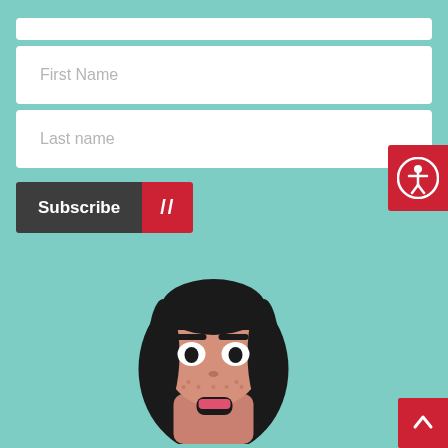[Figure (screenshot): Form field with placeholder text 'First Name' on teal background]
[Figure (screenshot): Form field with placeholder text 'Last name' on teal background]
[Figure (screenshot): Subscribe button with dark grey left portion and red right portion showing double-slash icon]
[Figure (illustration): Cartoon illustration of a girl with black hair, freckles, and open mouth, shown from shoulders up on teal background]
[Figure (illustration): Red accessibility icon button on right edge with person-in-circle symbol]
[Figure (illustration): Red back-to-top button on bottom right with upward arrow]